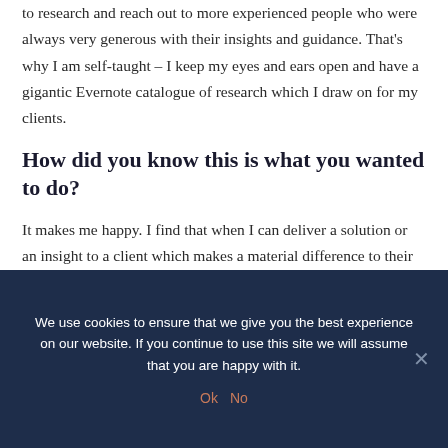to research and reach out to more experienced people who were always very generous with their insights and guidance. That's why I am self-taught – I keep my eyes and ears open and have a gigantic Evernote catalogue of research which I draw on for my clients.
How did you know this is what you wanted to do?
It makes me happy. I find that when I can deliver a solution or an insight to a client which makes a material difference to their profits, it is very satisfying – and I get referrals and positive reviews as a result.
We use cookies to ensure that we give you the best experience on our website. If you continue to use this site we will assume that you are happy with it.
Ok  No